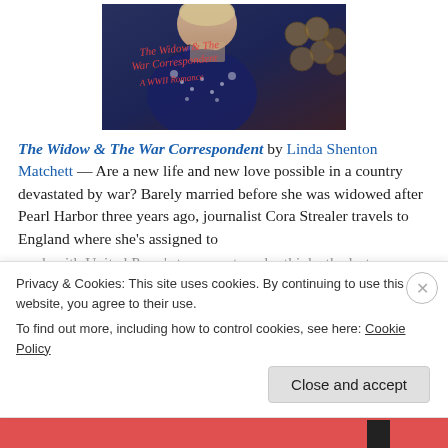[Figure (illustration): Book cover for 'The Widow & The War Correspondent: A WWII Romance' showing a woman in vintage clothing near a typewriter, with the title text in red italic script overlaid on a dark background]
The Widow & The War Correspondent by Linda Shenton Matchett — Are a new life and new love possible in a country devastated by war? Barely married before she was widowed after Pearl Harbor three years ago, journalist Cora Strealer travels to England where she's assigned to work with United Press's top reporter who thinks the last…
Privacy & Cookies: This site uses cookies. By continuing to use this website, you agree to their use.
To find out more, including how to control cookies, see here: Cookie Policy